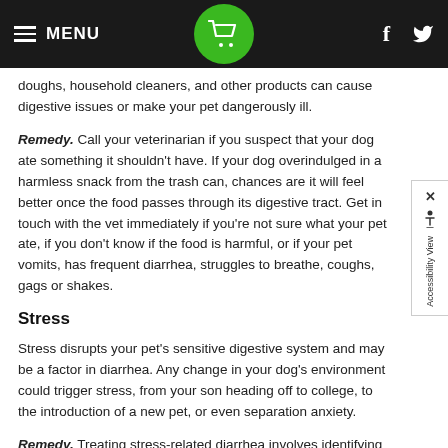MENU [navigation bar with cart icon, facebook and twitter icons]
doughs, household cleaners, and other products can cause digestive issues or make your pet dangerously ill.
Remedy. Call your veterinarian if you suspect that your dog ate something it shouldn't have. If your dog overindulged in a harmless snack from the trash can, chances are it will feel better once the food passes through its digestive tract. Get in touch with the vet immediately if you're not sure what your pet ate, if you don't know if the food is harmful, or if your pet vomits, has frequent diarrhea, struggles to breathe, coughs, gags or shakes.
Stress
Stress disrupts your pet's sensitive digestive system and may be a factor in diarrhea. Any change in your dog's environment could trigger stress, from your son heading off to college, to the introduction of a new pet, or even separation anxiety.
Remedy. Treating stress-related diarrhea involves identifying the stressor and making a few changes in your pet's life. The pressure of a Thundershirt or calming coat may help reduce